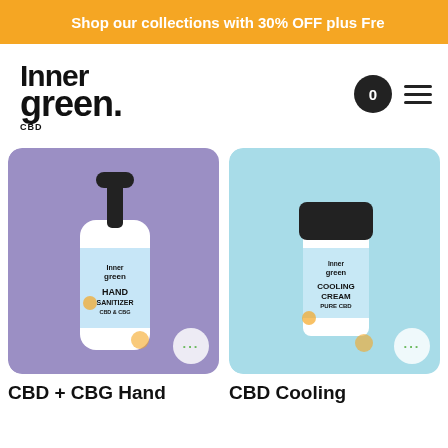Shop our collections with 30% OFF plus Fre
[Figure (logo): Inner CBD Green logo — stylized text logo with 'Inner' above and 'green' below, 'CBD' in small text]
[Figure (photo): CBD + CBG Hand Sanitizer pump bottle product photo on purple background]
[Figure (photo): CBD Cooling Cream Pure CBD airless pump bottle product photo on light blue background]
CBD + CBG Hand
CBD Cooling